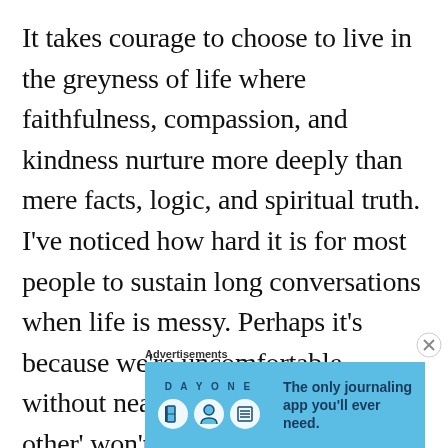It takes courage to choose to live in the greyness of life where faithfulness, compassion, and kindness nurture more deeply than mere facts, logic, and spiritual truth. I've noticed how hard it is for most people to sustain long conversations when life is messy. Perhaps it's because we're uncomfortable without neat solutions, when 'the other' won't take our advice, or
Advertisements
[Figure (other): DAY ONE journaling app advertisement banner with blue background, app icons, and tagline 'The only journaling app you'll ever need.']